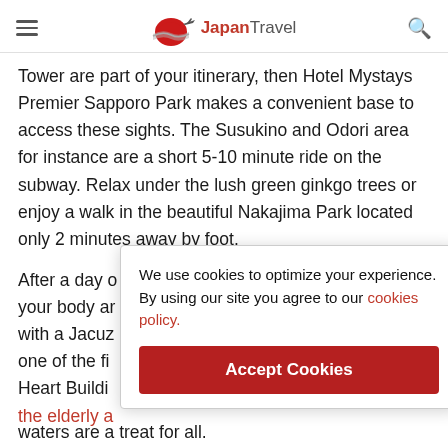Japan Travel
Tower are part of your itinerary, then Hotel Mystays Premier Sapporo Park makes a convenient base to access these sights. The Susukino and Odori area for instance are a short 5-10 minute ride on the subway. Relax under the lush green ginkgo trees or enjoy a walk in the beautiful Nakajima Park located only 2 minutes away by foot.
After a day o... your body ar... with a Jacuz... one of the fi... Heart Buildi... the elderly a...
[Figure (other): Cookie consent popup overlay: 'We use cookies to optimize your experience. By using our site you agree to our cookies policy.' with an Accept Cookies button]
waters are a treat for all.